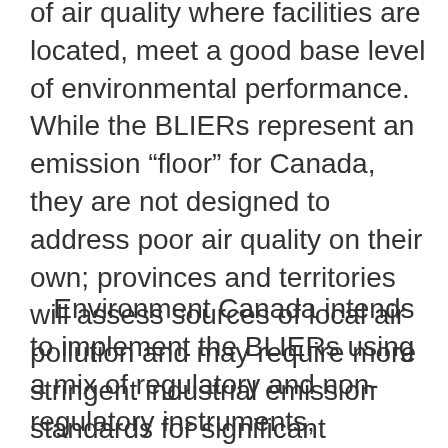of air quality where facilities are located, meet a good base level of environmental performance. While the BLIERs represent an emission “floor” for Canada, they are not designed to address poor air quality on their own; provinces and territories will assess sources of local air pollution and may require more stringent industrial emission standards for significant sources of air pollution.
Environment Canada intends to implement the BLIERs using a mix of regulatory and non-regulatory instruments, published over the next few